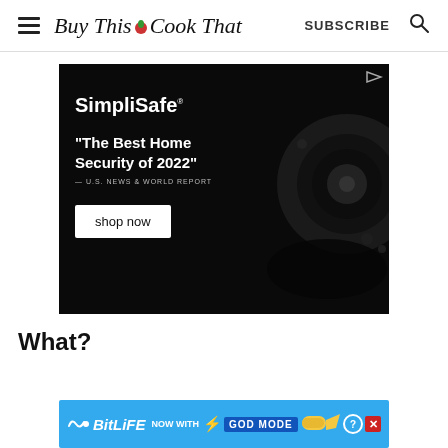Buy This Cook That — SUBSCRIBE
[Figure (screenshot): SimpliSafe advertisement on black background with security camera image. Text reads: SimpliSafe — 'The Best Home Security of 2022' — U.S. NEWS & WORLD REPORT. Button: shop now. Small play-button ad badge in top-right corner.]
What?
[Figure (screenshot): BitLife mobile game advertisement on blue background. Text: BitLife NOW WITH GOD MODE. Lightning bolt graphic, hand pointing graphic, help (?) and close (X) buttons.]